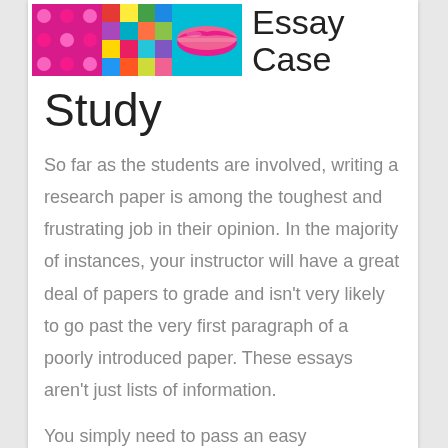[Figure (illustration): Three pop-art style images side by side: pink/magenta with polka dots, colorful block mosaic, and cyan/pink stylized lips. Beside them is large text reading 'Essay Case']
Study
So far as the students are involved, writing a research paper is among the toughest and frustrating job in their opinion. In the majority of instances, your instructor will have a great deal of papers to grade and isn't very likely to go past the very first paragraph of a poorly introduced paper. These essays aren't just lists of information.
You simply need to pass an easy